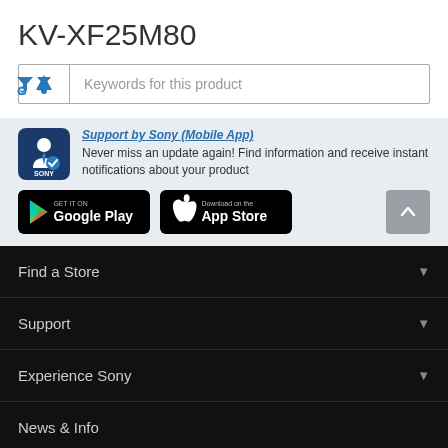KV-XF25M80
Keywords for this product
Support by Sony (Mobile App)
Never miss an update again! Find information and receive instant notifications about your product
[Figure (screenshot): Google Play store badge and Apple App Store badge, with a scroll-to-top button]
Find a Store
Support
Experience Sony
News & Info